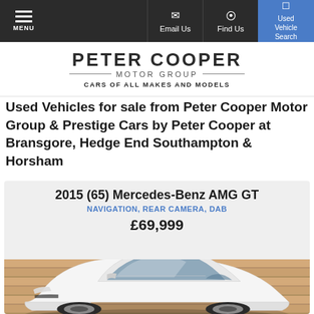MENU | Email Us | Find Us | Used Vehicle Search
[Figure (logo): Peter Cooper Motor Group logo — CARS OF ALL MAKES AND MODELS]
Used Vehicles for sale from Peter Cooper Motor Group & Prestige Cars by Peter Cooper at Bransgore, Hedge End Southampton & Horsham
2015 (65) Mercedes-Benz AMG GT
NAVIGATION, REAR CAMERA, DAB
£69,999
[Figure (photo): White 2015 Mercedes-Benz AMG GT sports car parked in front of a wooden slatted wall background]